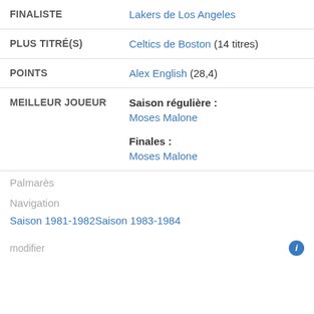| FINALISTE | Lakers de Los Angeles |
| PLUS TITRÉ(S) | Celtics de Boston (14 titres) |
| POINTS | Alex English (28,4) |
| MEILLEUR JOUEUR | Saison régulière :
Moses Malone
Finales :
Moses Malone |
Palmarès
Navigation
Saison 1981-1982Saison 1983-1984
modifier